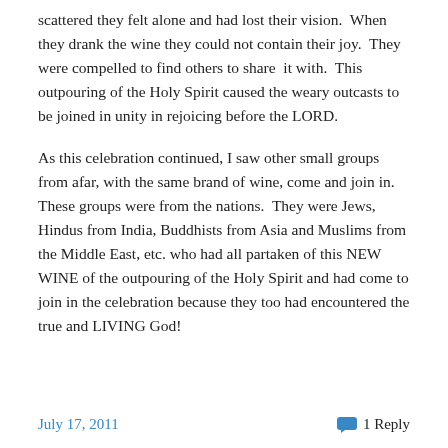scattered they felt alone and had lost their vision.  When they drank the wine they could not contain their joy.  They were compelled to find others to share  it with.  This outpouring of the Holy Spirit caused the weary outcasts to be joined in unity in rejoicing before the LORD.
As this celebration continued, I saw other small groups from afar, with the same brand of wine, come and join in.  These groups were from the nations.  They were Jews, Hindus from India, Buddhists from Asia and Muslims from the Middle East, etc. who had all partaken of this NEW WINE of the outpouring of the Holy Spirit and had come to join in the celebration because they too had encountered the true and LIVING God!
July 17, 2011    1 Reply